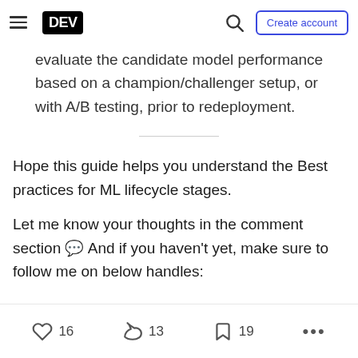DEV | Create account
evaluate the candidate model performance based on a champion/challenger setup, or with A/B testing, prior to redeployment.
Hope this guide helps you understand the Best practices for ML lifecycle stages.
Let me know your thoughts in the comment section 💬 And if you haven't yet, make sure to follow me on below handles:
16 reactions · 13 comments · 19 saves